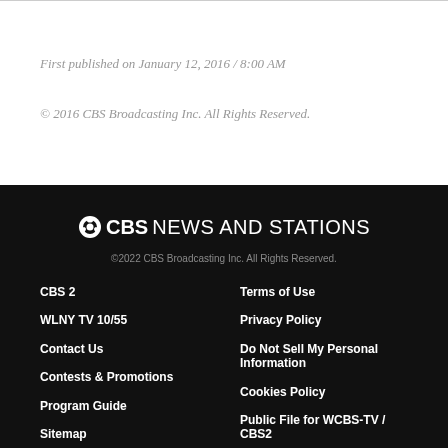First published on January 12, 2016 / 8:00 AM
© 2016 CBS Broadcasting Inc. All Rights Reserved.
CBS NEWS AND STATIONS
©2022 CBS Broadcasting Inc. All Rights Reserved.
CBS 2
WLNY TV 10/55
Contact Us
Contests & Promotions
Program Guide
Sitemap
Terms of Use
Privacy Policy
Do Not Sell My Personal Information
Cookies Policy
Public File for WCBS-TV / CBS2